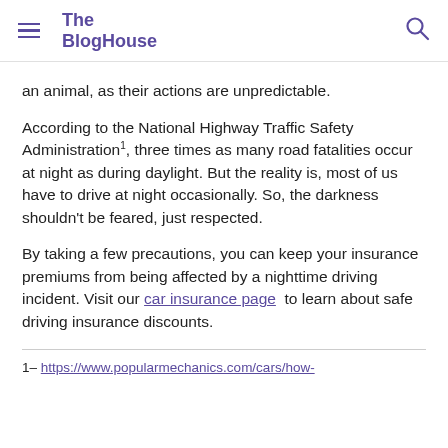The BlogHouse
an animal, as their actions are unpredictable.
According to the National Highway Traffic Safety Administration1, three times as many road fatalities occur at night as during daylight. But the reality is, most of us have to drive at night occasionally. So, the darkness shouldn't be feared, just respected.
By taking a few precautions, you can keep your insurance premiums from being affected by a nighttime driving incident. Visit our car insurance page to learn about safe driving insurance discounts.
1- https://www.popularmechanics.com/cars/how-